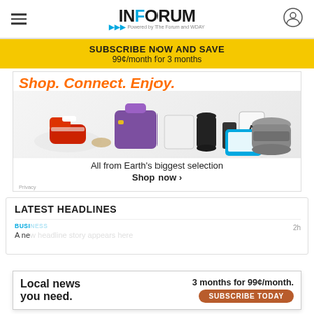INFORUM — Powered by The Forum and WDAY
SUBSCRIBE NOW AND SAVE
99¢/month for 3 months
[Figure (photo): Amazon advertisement with orange italic text 'Shop. Connect. Enjoy.' and product photos including red sneakers, purple bag, Xbox controller, Amazon Echo, Fire tablet, and a slow cooker. Text reads: 'All from Earth's biggest selection — Shop now'. Privacy link at bottom left.]
LATEST HEADLINES
BUSI... A ne... — 2h
[Figure (screenshot): Bottom popup ad: 'Local news you need. 3 months for 99¢/month. SUBSCRIBE TODAY' button in brown/orange.]